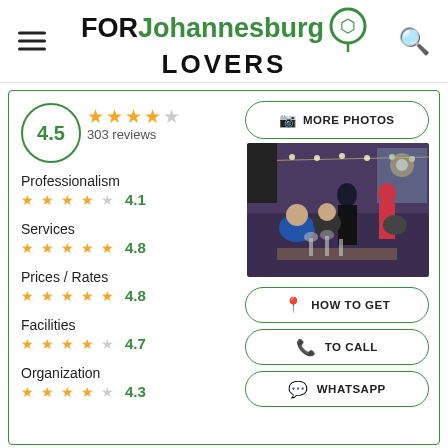FORJohannesburgLOVERS
[Figure (infographic): Rating card with 4.5 stars, 303 reviews, and sub-ratings for Professionalism (4.1), Services (4.8), Prices/Rates (4.8), Facilities (4.7), Organization (4.3). Venue photo and action buttons for More Photos, How to Get, To Call, WhatsApp.]